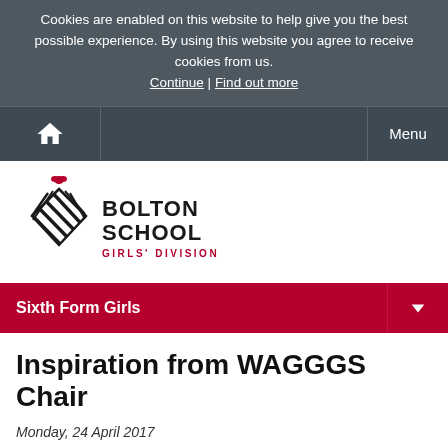Cookies are enabled on this website to help give you the best possible experience. By using this website you agree to receive cookies from us. Continue | Find out more
Home | Menu
[Figure (logo): Bolton School Girls' Division logo with diamond-shaped emblem and text]
Sixth Form Girls
Inspiration from WAGGGS Chair
Monday, 24 April 2017
[Figure (photo): Partial photo showing gold/bronze decorative objects on a surface]